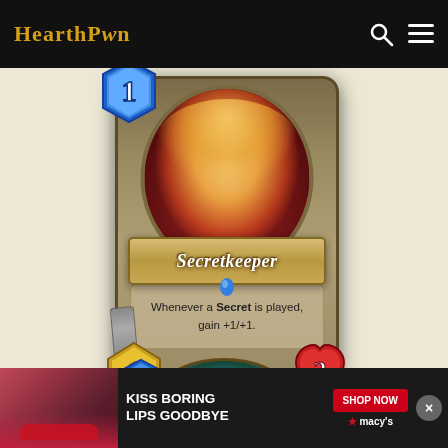HearthPwn
[Figure (illustration): Hearthstone card: Secretkeeper. A 1-mana 1/2 minion card. Shows an elf-like female character in purple robes. Card text: Whenever a Secret is played, gain +1/+1.]
Whenever a Secret is played, gain +1/+1.
[Figure (illustration): Partial view of a second Hearthstone card with mana cost 2 and a dark-colored portrait]
[Figure (advertisement): Macy's lipstick advertisement: KISS BORING LIPS GOODBYE with SHOP NOW button and Macy's star logo]